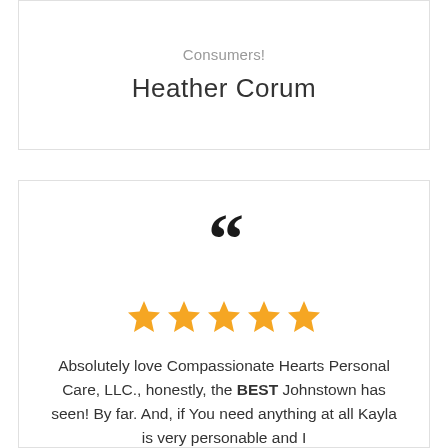Consumers!
Heather Corum
[Figure (illustration): Large opening quotation mark decorative element]
★★★★★ (5 stars)
Absolutely love Compassionate Hearts Personal Care, LLC., honestly, the BEST Johnstown has seen! By far. And, if You need anything at all Kayla is very personable and I